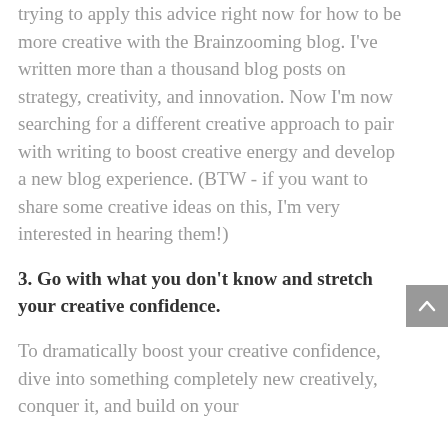trying to apply this advice right now for how to be more creative with the Brainzooming blog. I've written more than a thousand blog posts on strategy, creativity, and innovation. Now I'm now searching for a different creative approach to pair with writing to boost creative energy and develop a new blog experience. (BTW - if you want to share some creative ideas on this, I'm very interested in hearing them!)
3. Go with what you don't know and stretch your creative confidence.
To dramatically boost your creative confidence, dive into something completely new creatively, conquer it, and build on your